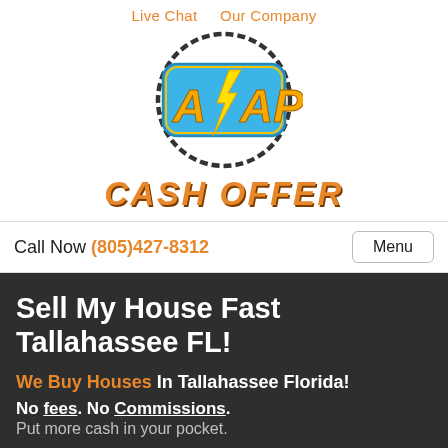Live Chat   Our Company
[Figure (logo): ASAP Cash Offer logo: circular arrow around a blue badge with 'A/AP' text and yellow lightning bolt, with 'CASH OFFER' text below in orange bold italic]
Call Now (805)427-8312   Menu
Sell My House Fast Tallahassee FL!
We Buy Houses In Tallahassee Florida!
No fees. No Commissions. Put more cash in your pocket.
Fill out the form